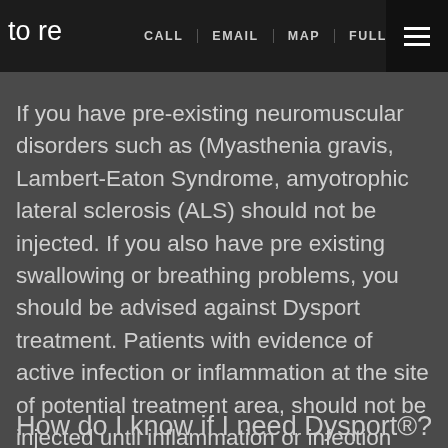to re | CALL | EMAIL | MAP | FULL SITE ☰
If you have pre-existing neuromuscular disorders such as (Myasthenia gravis, Lambert-Eaton Syndrome, amyotrophic lateral sclerosis (ALS) should not be injected. If you also have pre existing swallowing or breathing problems, you should be advised against Dysport treatment. Patients with evidence of active infection or inflammation at the site of potential treatment area, should not be injected until inflammation or infection completely resolves. Dr. Avaliani will perform a detailed history intake and physical exam to determine if Dysport is the right treatment for you.
How do I know if I need Dysport®?